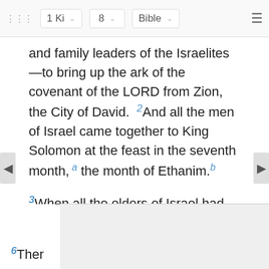1 Ki  8  Bible
and family leaders of the Israelites—to bring up the ark of the covenant of the LORD from Zion, the City of David. 2And all the men of Israel came together to King Solomon at the feast in the seventh month,a the month of Ethanim.b
3When all the elders of Israel had arrived, the priests took up the ark, 4and they brought up the ark of the LORD and the Tent of Meeting with all its sacred furnishings. So the priests and Levites carried them up.
5There, before the ark, King Solomon and the whole congregation of Israel who had assembled with him sacrificed so many sheep and oxen that they could not be
6The... nt of